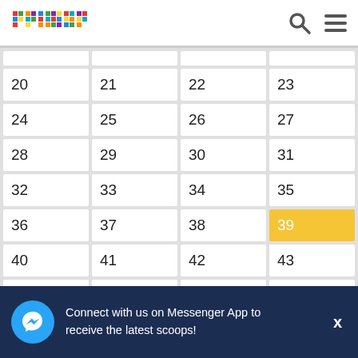primer (logo with navigation icons)
| 20 | 21 | 22 | 23 |
| 24 | 25 | 26 | 27 |
| 28 | 29 | 30 | 31 |
| 32 | 33 | 34 | 35 |
| 36 | 37 | 38 | 39 |
| 40 | 41 | 42 | 43 |
| 44 | 45 | 46 | 47 |
| 48 | 49 | 50 | 51 |
Connect with us on Messenger App to receive the latest scoops!